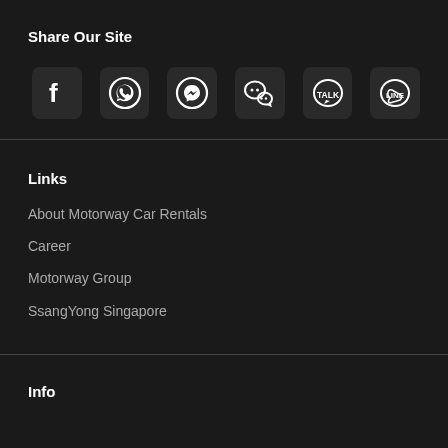Share Our Site
[Figure (infographic): Row of social media sharing icons: Facebook (f), WhatsApp, Messenger, WeChat, KakaoTalk (TALK), Line (LINE)]
Links
About Motorway Car Rentals
Career
Motorway Group
SsangYong Singapore
Info